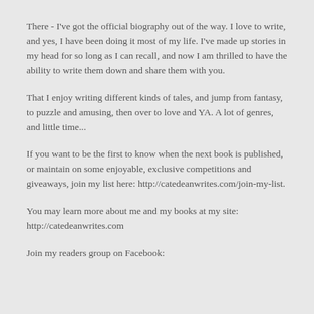There - I've got the official biography out of the way. I love to write, and yes, I have been doing it most of my life. I've made up stories in my head for so long as I can recall, and now I am thrilled to have the ability to write them down and share them with you.
That I enjoy writing different kinds of tales, and jump from fantasy, to puzzle and amusing, then over to love and YA. A lot of genres, and little time...
If you want to be the first to know when the next book is published, or maintain on some enjoyable, exclusive competitions and giveaways, join my list here: http://catedeanwrites.com/join-my-list.
You may learn more about me and my books at my site: http://catedeanwrites.com
Join my readers group on Facebook: